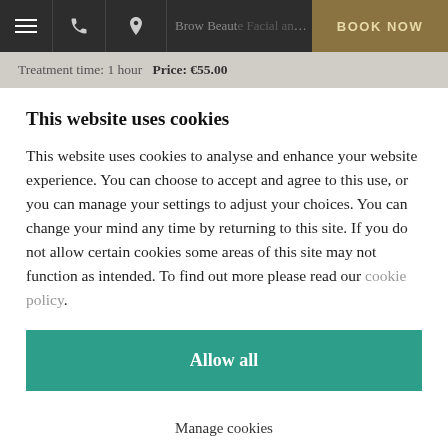Brow Beaut Facial and Lash tint, Brow...   BOOK NOW
Treatment time: 1 hour   Price: €55.00
This website uses cookies
This website uses cookies to analyse and enhance your website experience. You can choose to accept and agree to this use, or you can manage your settings to adjust your choices. You can change your mind any time by returning to this site. If you do not allow certain cookies some areas of this site may not function as intended. To find out more please read our cookie policy.
Allow all
Manage cookies